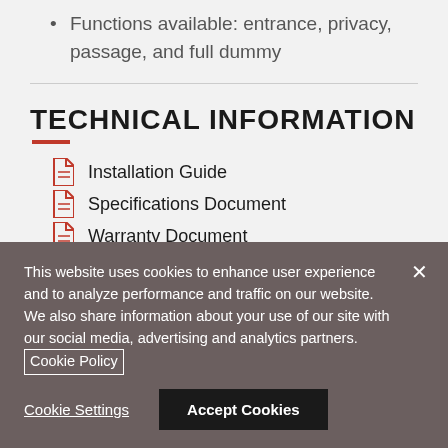Functions available: entrance, privacy, passage, and full dummy
TECHNICAL INFORMATION
Installation Guide
Specifications Document
Warranty Document
Do not use prints made from this website to mark
This website uses cookies to enhance user experience and to analyze performance and traffic on our website. We also share information about your use of our site with our social media, advertising and analytics partners. Cookie Policy
Cookie Settings
Accept Cookies